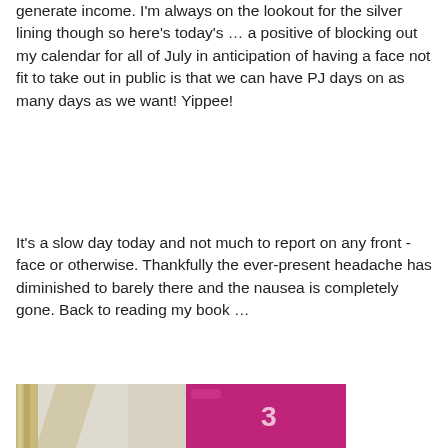generate income. I'm always on the lookout for the silver lining though so here's today's … a positive of blocking out my calendar for all of July in anticipation of having a face not fit to take out in public is that we can have PJ days on as many days as we want! Yippee!
It's a slow day today and not much to report on any front - face or otherwise. Thankfully the ever-present headache has diminished to barely there and the nausea is completely gone. Back to reading my book …
[Figure (photo): Partial photo showing what appears to be a wooden frame or surface on the left and a pink/magenta fabric or item on the right, cropped at the bottom of the page.]